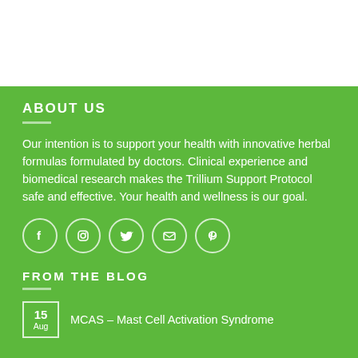ABOUT US
Our intention is to support your health with innovative herbal formulas formulated by doctors. Clinical experience and biomedical research makes the Trillium Support Protocol safe and effective. Your health and wellness is our goal.
[Figure (infographic): Row of 5 social media icon circles: Facebook, Instagram, Twitter, Email, Pinterest]
FROM THE BLOG
15 Aug  MCAS – Mast Cell Activation Syndrome